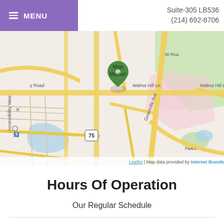MENU   Suite-305 LB536   (214) 692-8706
[Figure (map): Street map showing location near Walnut Hill Ln in Dallas area, with a green map marker. Roads include Walnut Hill Ln, Greenville Ave, and highway 75. Map data provided by Internet Brands via Leaflet.]
Leaflet | Map data provided by Internet Brands
Hours Of Operation
Our Regular Schedule